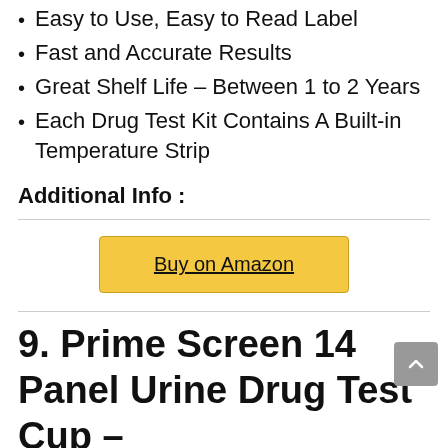Easy to Use, Easy to Read Label
Fast and Accurate Results
Great Shelf Life – Between 1 to 2 Years
Each Drug Test Kit Contains A Built-in Temperature Strip
Additional Info :
[Figure (other): Buy on Amazon button]
9. Prime Screen 14 Panel Urine Drug Test Cup –